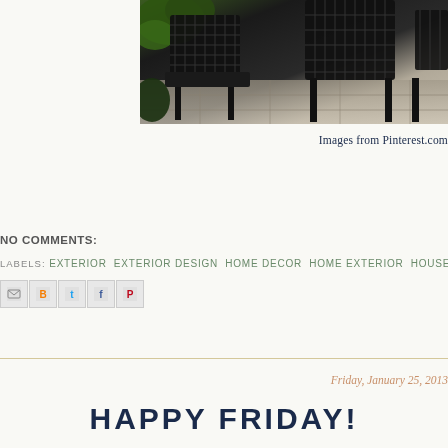[Figure (photo): Outdoor black wicker patio furniture (chairs) on stone/slate patio floor with green fern plant in background, cropped view]
Images from Pinterest.com
NO COMMENTS:
LABELS: EXTERIOR  EXTERIOR DESIGN  HOME DECOR  HOME EXTERIOR  HOUSE  IN
[Figure (screenshot): Social share icons row: email, blogger, twitter, facebook, pinterest]
Friday, January 25, 2013
HAPPY FRIDAY!